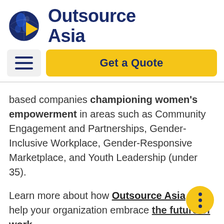[Figure (logo): Outsource Asia logo: globe SVG with yellow arrow, next to bold dark blue text 'Outsource Asia']
[Figure (infographic): Navigation bar with hamburger menu icon and yellow 'Get a Quote' button]
based companies championing women's empowerment in areas such as Community Engagement and Partnerships, Gender-Inclusive Workplace, Gender-Responsive Marketplace, and Youth Leadership (under 35).
Learn more about how Outsource Asia can help your organization embrace the future of work.